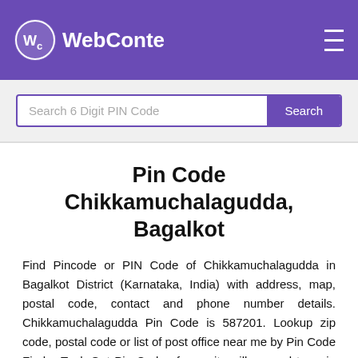WebConte
Search 6 Digit PIN Code
Pin Code Chikkamuchalagudda, Bagalkot
Find Pincode or PIN Code of Chikkamuchalagudda in Bagalkot District (Karnataka, India) with address, map, postal code, contact and phone number details. Chikkamuchalagudda Pin Code is 587201. Lookup zip code, postal code or list of post office near me by Pin Code Finder Tool. Get Pin Code of any city, village and town in India with postal department, postal service information.